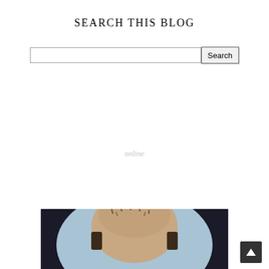SEARCH THIS BLOG
online
[Figure (photo): Close-up photograph of a man's head from above, bald on top with short dark hair around the sides, against a dark background with a light blue circular element]